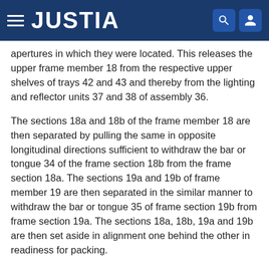JUSTIA
apertures in which they were located. This releases the upper frame member 18 from the respective upper shelves of trays 42 and 43 and thereby from the lighting and reflector units 37 and 38 of assembly 36.
The sections 18a and 18b of the frame member 18 are then separated by pulling the same in opposite longitudinal directions sufficient to withdraw the bar or tongue 34 of the frame section 18b from the frame section 18a. The sections 19a and 19b of frame member 19 are then separated in the similar manner to withdraw the bar or tongue 35 of frame section 19b from frame section 19a. The sections 18a, 18b, 19a and 19b are then set aside in alignment one behind the other in readiness for packing.
What is left on the table is the articulated lighting and reflector assembly 36 in its operative configuration.